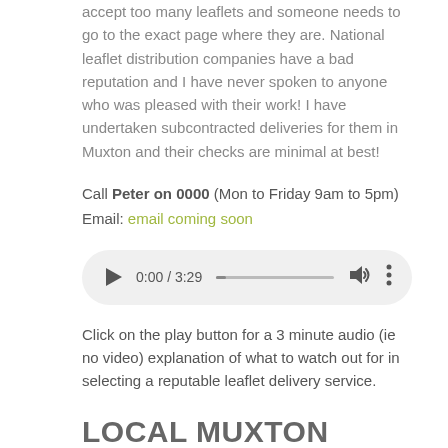accept too many leaflets and someone needs to go to the exact page where they are. National leaflet distribution companies have a bad reputation and I have never spoken to anyone who was pleased with their work! I have undertaken subcontracted deliveries for them in Muxton and their checks are minimal at best!
Call Peter on 0000 (Mon to Friday 9am to 5pm)
Email: email coming soon
[Figure (other): Audio player widget showing 0:00 / 3:29 with play button, progress bar, volume icon, and options icon]
Click on the play button for a 3 minute audio (ie no video) explanation of what to watch out for in selecting a reputable leaflet delivery service.
LOCAL MUXTON OFFICE
MUXTON, UK